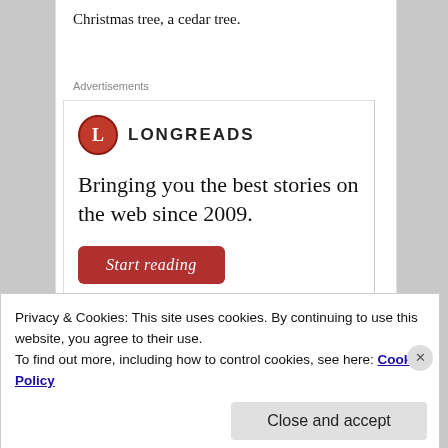Christmas tree, a cedar tree.
Advertisements
[Figure (logo): Longreads logo: red circle with white 'L', followed by LONGREADS wordmark in bold caps. Below: tagline 'Bringing you the best stories on the web since 2009.' and a red 'Start reading' button.]
Privacy & Cookies: This site uses cookies. By continuing to use this website, you agree to their use.
To find out more, including how to control cookies, see here: Cookie Policy
Close and accept